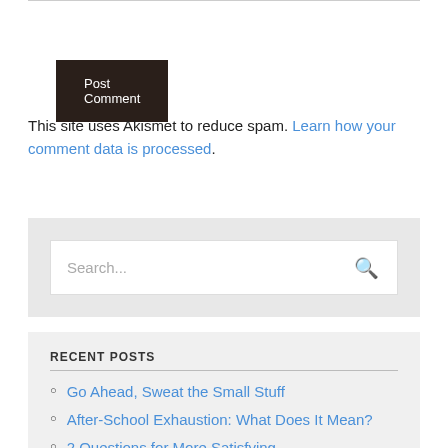[Figure (other): Post Comment button - dark brown/black rectangular button with white text]
This site uses Akismet to reduce spam. Learn how your comment data is processed.
[Figure (other): Search box with placeholder text 'Search...' and a search icon on the right, inside a gray container]
RECENT POSTS
Go Ahead, Sweat the Small Stuff
After-School Exhaustion: What Does It Mean?
2 Questions for More Satisfying